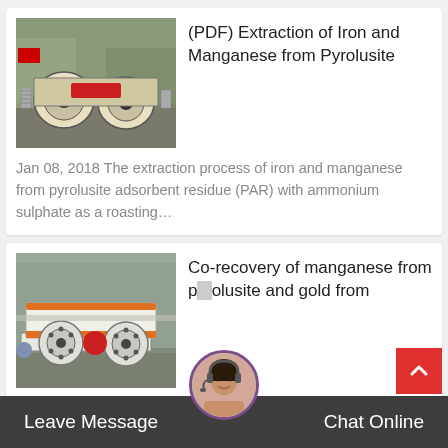[Figure (photo): Industrial crushing machine equipment, jaw crusher or similar, photographed outdoors]
(PDF) Extraction of Iron and Manganese from Pyrolusite
Jan 08, 2018 The extraction process of iron and manganese from pyrolusite adsorbent residue (PAR) with ammonium sulphate as a roasting…
[Figure (photo): Industrial roll crusher or vibrating feeder machine, white and orange, photographed in a facility]
Co-recovery of manganese from pyrolusite and gold from
Jan 01, 2020 Co-recovery of manganese from